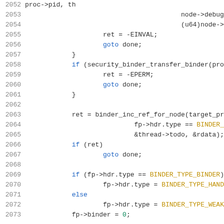[Figure (screenshot): Source code listing showing lines 2052-2073 of a C kernel file (likely Android binder driver). Line numbers on the left in gray, code in monospace with syntax highlighting (blue for keywords, dark gold for constants, dark text for identifiers).]